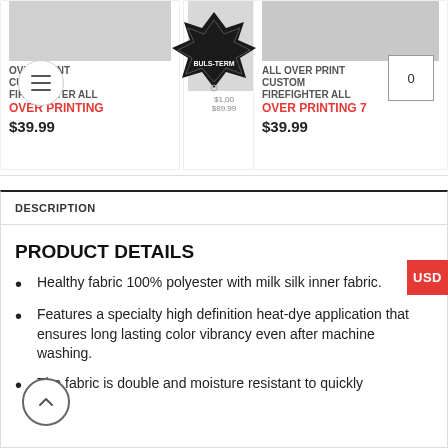[Figure (screenshot): E-commerce website header with logo, navigation, product cards, and product description section]
OVER PRINT CUSTOM FIREFIGHTER ALL OVER PRINTING
$39.99
ALL OVER PRINT CUSTOM FIREFIGHTER ALL OVER PRINTING 7
$39.99
DESCRIPTION
PRODUCT DETAILS
Healthy fabric 100% polyester with milk silk inner fabric.
Features a specialty high definition heat-dye application that ensures long lasting color vibrancy even after machine washing.
The fabric is double and moisture resistant to quickly...